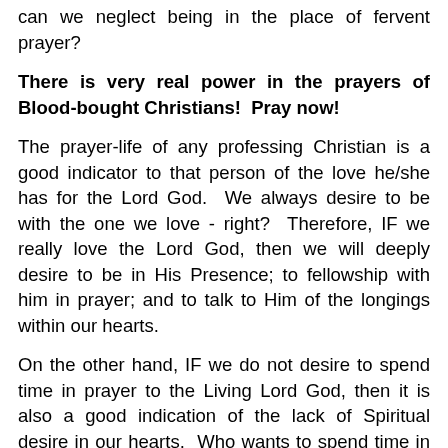can we neglect being in the place of fervent prayer?
There is very real power in the prayers of Blood-bought Christians!  Pray now!
The prayer-life of any professing Christian is a good indicator to that person of the love he/she has for the Lord God.  We always desire to be with the one we love - right?  Therefore, IF we really love the Lord God, then we will deeply desire to be in His Presence; to fellowship with him in prayer; and to talk to Him of the longings within our hearts.
On the other hand, IF we do not desire to spend time in prayer to the Living Lord God, then it is also a good indication of the lack of Spiritual desire in our hearts.  Who wants to spend time in the presence of someone one does not personally love?  Who really wants to have their inner...